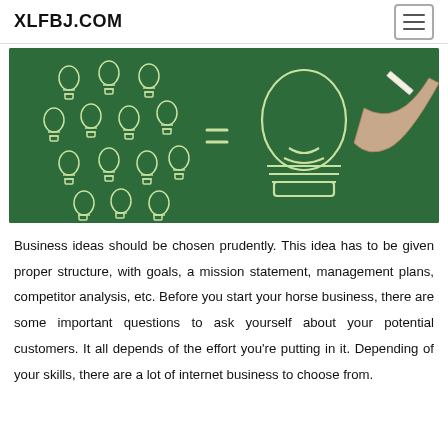XLFBJ.COM
[Figure (illustration): Chalkboard illustration showing multiple small lightbulb sketches on the left side equaling one large lightbulb sketch on the right side, with a hand holding chalk.]
Business ideas should be chosen prudently. This idea has to be given proper structure, with goals, a mission statement, management plans, competitor analysis, etc. Before you start your horse business, there are some important questions to ask yourself about your potential customers. It all depends of the effort you're putting in it. Depending of your skills, there are a lot of internet business to choose from.